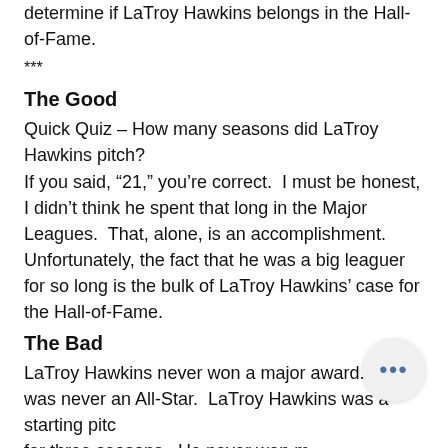determine if LaTroy Hawkins belongs in the Hall-of-Fame.
***
The Good
Quick Quiz – How many seasons did LaTroy Hawkins pitch?
If you said, “21,” you’re correct.  I must be honest, I didn’t think he spent that long in the Major Leagues.  That, alone, is an accomplishment.
Unfortunately, the fact that he was a big leaguer for so long is the bulk of LaTroy Hawkins’ case for the Hall-of-Fame.
The Bad
LaTroy Hawkins never won a major award.  He was never an All-Star.  LaTroy Hawkins was a starting pitc… for three seasons.  He never won m… than 10 games in a season.  He was a…